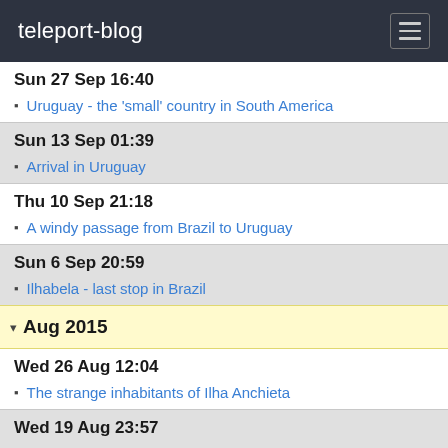teleport-blog
Sun 27 Sep 16:40
Uruguay - the 'small' country in South America
Sun 13 Sep 01:39
Arrival in Uruguay
Thu 10 Sep 21:18
A windy passage from Brazil to Uruguay
Sun 6 Sep 20:59
Ilhabela - last stop in Brazil
Aug 2015
Wed 26 Aug 12:04
The strange inhabitants of Ilha Anchieta
Wed 19 Aug 23:57
Mamangua is for sale!
Mon 17 Aug 03:01
Paraty